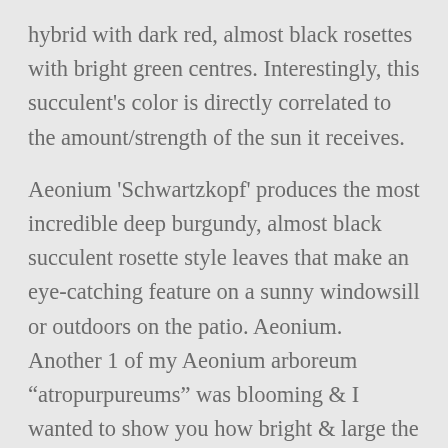hybrid with dark red, almost black rosettes with bright green centres. Interestingly, this succulent's color is directly correlated to the amount/strength of the sun it receives. Aeonium 'Schwartzkopf' produces the most incredible deep burgundy, almost black succulent rosette style leaves that make an eye-catching feature on a sunny windowsill or outdoors on the patio. Aeonium. Another 1 of my Aeonium arboreum “atropurpureums” was blooming & I wanted to show you how bright & large the flower heads are. Allow the soil to almost dry out before the next watering. If the light conditions are not sufficient, the leaves grow deformed and